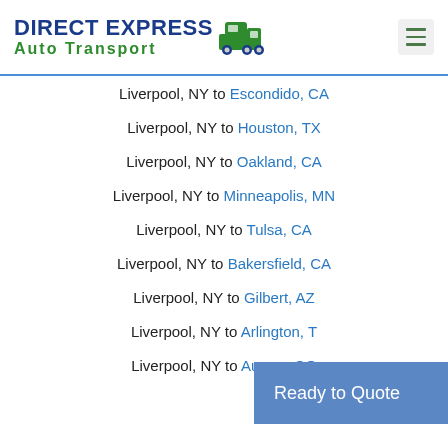DIRECT EXPRESS Auto Transport
Liverpool, NY to Escondido, CA
Liverpool, NY to Houston, TX
Liverpool, NY to Oakland, CA
Liverpool, NY to Minneapolis, MN
Liverpool, NY to Tulsa, CA
Liverpool, NY to Bakersfield, CA
Liverpool, NY to Gilbert, AZ
Liverpool, NY to Arlington, T...
Liverpool, NY to Aurora, CO